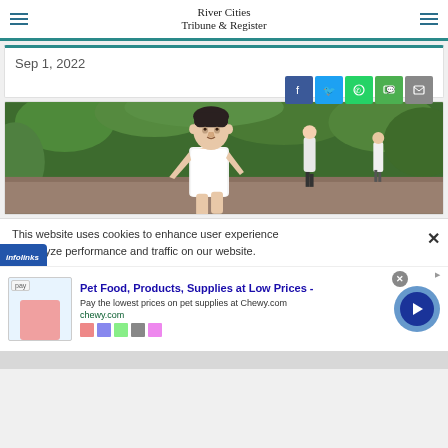River Cities Tribune & Register
Sep 1, 2022
[Figure (photo): A male runner in a white singlet competing in a cross country race, with green foliage in the background and other runners visible behind him.]
This website uses cookies to enhance user experience to analyze performance and traffic on our website.
Pet Food, Products, Supplies at Low Prices - Pay the lowest prices on pet supplies at Chewy.com chewy.com